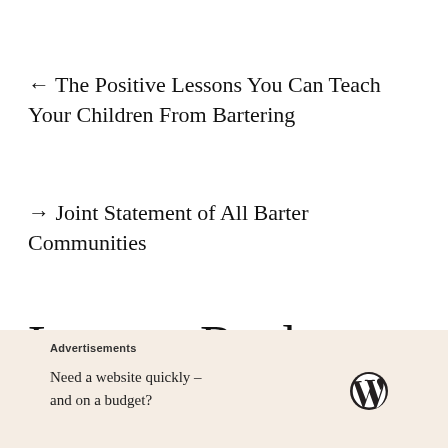← The Positive Lessons You Can Teach Your Children From Bartering
→ Joint Statement of All Barter Communities
Leave a Reply
Advertisements
Need a website quickly – and on a budget?